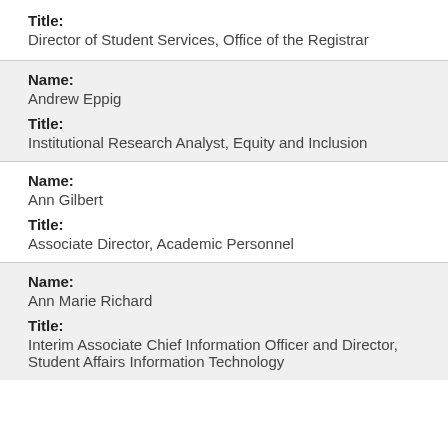Title: Director of Student Services, Office of the Registrar
Name: Andrew Eppig
Title: Institutional Research Analyst, Equity and Inclusion
Name: Ann Gilbert
Title: Associate Director, Academic Personnel
Name: Ann Marie Richard
Title: Interim Associate Chief Information Officer and Director, Student Affairs Information Technology